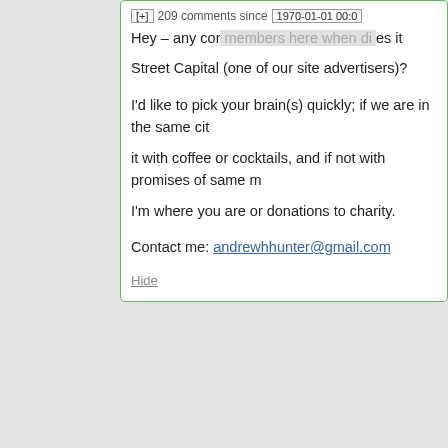[+] 209 comments since 1970-01-01 00:0
Hey – any cor... Street Capital (one of our site advertisers)?
I'd like to pick your brain(s) quickly; if we are in the same city it with coffee or cocktails, and if not with promises of same m I'm where you are or donations to charity.
Contact me: andrewhhunter@gmail.com
Hide
[Figure (photo): Avatar photo of johan_larson, a man with short hair wearing a red shirt]
johan_larson says: April 2, 2018 at 9:58 am ~new~
Here is an excellent presentation about hominin fossils from Rising Star cave in South Africa. The presentation is recent, 2017, by an anthropology professor at with University of Wis Madison.